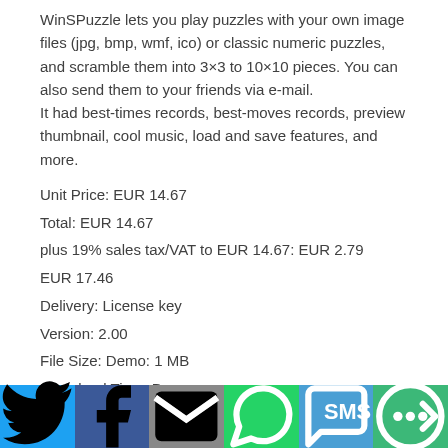WinSPuzzle lets you play puzzles with your own image files (jpg, bmp, wmf, ico) or classic numeric puzzles, and scramble them into 3×3 to 10×10 pieces. You can also send them to your friends via e-mail.
It had best-times records, best-moves records, preview thumbnail, cool music, load and save features, and more.
Unit Price: EUR 14.67
Total: EUR 14.67
plus 19% sales tax/VAT to EUR 14.67: EUR 2.79
EUR 17.46
Delivery: License key
Version: 2.00
File Size: Demo: 1 MB
Download Time: Demo
56k: ~2 min.
DSL/Cable (1/8/16Mbit): <1 / <1 / <1 min.
[Figure (infographic): Social sharing bar with icons for Twitter, Facebook, Email, WhatsApp, SMS, and More]